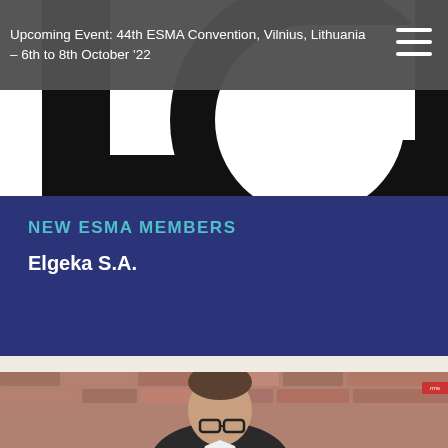Upcoming Event: 44th ESMA Convention, Vilnius, Lithuania – 6th to 8th October '22
[Figure (logo): Large partial ESMA logo letters visible in black and white, showing letters E, G cropped]
NEW ESMA MEMBERS
Elgeka S.A.
[Figure (photo): Portrait photo of a man with glasses and dark hair, wearing a dark jacket, in front of a brick wall background]